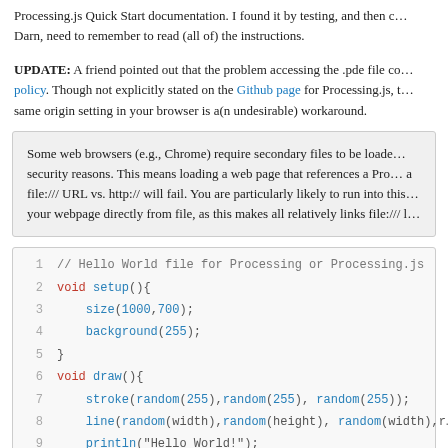Processing.js Quick Start documentation. I found it by testing, and then c… Darn, need to remember to read (all of) the instructions.
UPDATE: A friend pointed out that the problem accessing the .pde file co… policy. Though not explicitly stated on the Github page for Processing.js, t… same origin setting in your browser is a(n undesirable) workaround.
Some web browsers (e.g., Chrome) require secondary files to be loade… security reasons. This means loading a web page that references a Pro… a file:/// URL vs. http:// will fail. You are particularly likely to run into this… your webpage directly from file, as this makes all relatively links file:/// l…
// Hello World file for Processing or Processing.js
2  void setup(){
3    size(1000,700);
4    background(255);
5  }
6  void draw(){
7    stroke(random(255),random(255), random(255));
8    line(random(width),random(height), random(width),r…
9    println("Hello World!");